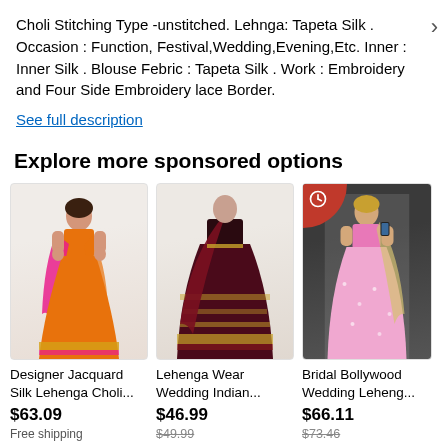Choli Stitching Type -unstitched. Lehnga: Tapeta Silk . Occasion : Function, Festival,Wedding,Evening,Etc. Inner : Inner Silk . Blouse Febric : Tapeta Silk . Work : Embroidery and Four Side Embroidery lace Border.
See full description
Explore more sponsored options
[Figure (photo): Orange and pink Designer Jacquard Silk Lehenga Choli on a model]
Designer Jacquard Silk Lehenga Choli...
$63.09
Free shipping
[Figure (photo): Dark maroon Lehenga Wear Wedding Indian outfit on a mannequin]
Lehenga Wear Wedding Indian...
$46.99
$49.99
[Figure (photo): Pink Bridal Bollywood Wedding Lehenga on a model taking a mirror selfie]
Bridal Bollywood Wedding Leheng...
$66.11
$73.46